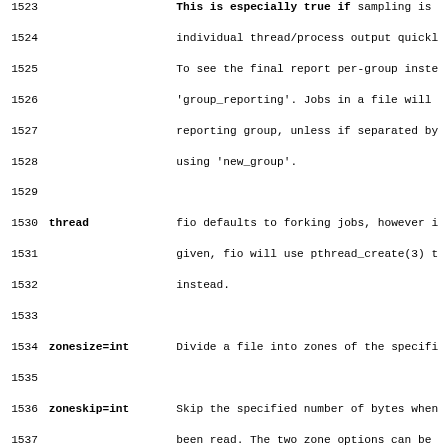Lines 1523-1555: Documentation for fio options including group_reporting, thread, zonesize=int, zoneskip=int, write_iolog=str, read_iolog=str, replay_no_stall=int